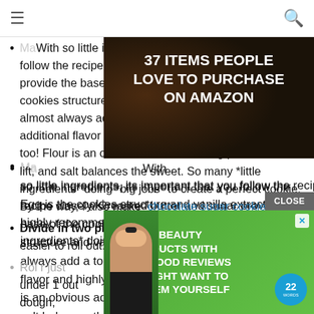[Figure (screenshot): Top advertisement banner: dark background with kitchen/cooking items, badge reading '22 WORDS', text '37 ITEMS PEOPLE LOVE TO PURCHASE ON AMAZON', close X button]
Ma... With so little ingredients, its important that you follow the recipe closely. Creamed butter and sugar provide the base of the cookie dough. Egg is the cookies structure and vanilla extract adds flavor. I almost always add a touch of almond extract for additional flavor and highly recommend that you try it too! Flour is an obvious addition, baking powder adds lift, and salt balances the sweet. So many *little ingredients* doing *big jobs* to create a perfect cookie. By the way, I also make chocolate sugar cookies too!
Divide in two pieces. Smaller sections of dough are easier to roll out.
Rol... r just under 1... out dough,... experie...
[Figure (screenshot): Bottom advertisement banner: green background with woman wearing face mask, text '37 BEAUTY PRODUCTS WITH SUCH GOOD REVIEWS YOU MIGHT WANT TO TRY THEM YOURSELF', badge reading '22 WORDS', close X button, CLOSE button]